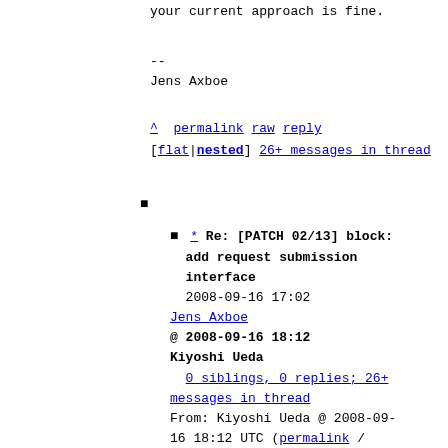your current approach is fine.
--
Jens Axboe
^ permalink raw reply
[flat|nested] 26+ messages in thread
* Re: [PATCH 02/13] block: add request submission interface
2008-09-16 17:02
Jens Axboe
@ 2008-09-16 18:12
Kiyoshi Ueda
0 siblings, 0 replies; 26+ messages in thread
From: Kiyoshi Ueda @ 2008-09-16 18:12 UTC (permalink / raw)
To: jens.axboe
Cc: bharrosh, agk, James.Bottomley, linux-kernel, linux-scsi,
        dm-devel, j-nomura, k-ueda